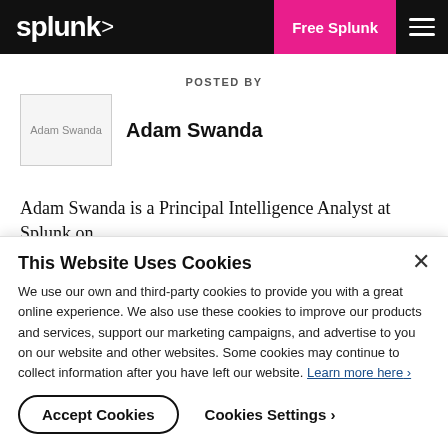splunk> | Free Splunk | ☰
POSTED BY
[Figure (photo): Author photo placeholder for Adam Swanda]
Adam Swanda
Adam Swanda is a Principal Intelligence Analyst at Splunk on
This Website Uses Cookies
We use our own and third-party cookies to provide you with a great online experience. We also use these cookies to improve our products and services, support our marketing campaigns, and advertise to you on our website and other websites. Some cookies may continue to collect information after you have left our website. Learn more here ›
Accept Cookies | Cookies Settings ›